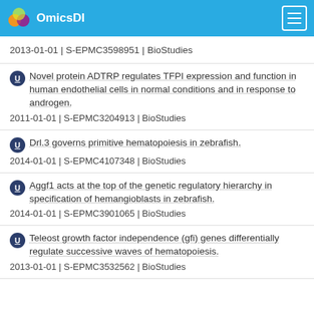OmicsDI
2013-01-01 | S-EPMC3598951 | BioStudies
Novel protein ADTRP regulates TFPI expression and function in human endothelial cells in normal conditions and in response to androgen.
2011-01-01 | S-EPMC3204913 | BioStudies
Drl.3 governs primitive hematopoiesis in zebrafish.
2014-01-01 | S-EPMC4107348 | BioStudies
Aggf1 acts at the top of the genetic regulatory hierarchy in specification of hemangioblasts in zebrafish.
2014-01-01 | S-EPMC3901065 | BioStudies
Teleost growth factor independence (gfi) genes differentially regulate successive waves of hematopoiesis.
2013-01-01 | S-EPMC3532562 | BioStudies